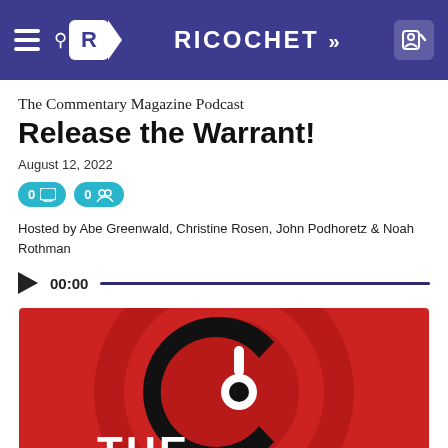RICOCHET
The Commentary Magazine Podcast
Release the Warrant!
August 12, 2022
Hosted by Abe Greenwald, Christine Rosen, John Podhoretz & Noah Rothman
00:00
[Figure (logo): The Commentary Magazine Podcast logo — red background with dark red concentric circles, large black letter C with white headphone icon, white text THE at bottom]